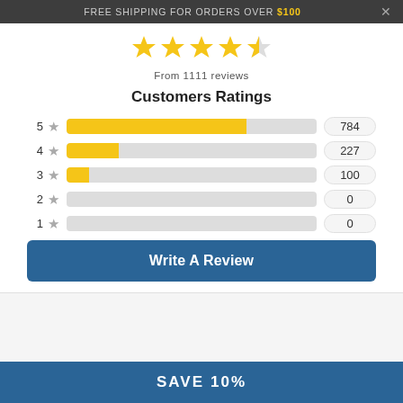Free shipping for orders over $100
[Figure (other): 5 stars rating display showing 4.5 filled stars]
From 1111 reviews
Customers Ratings
[Figure (bar-chart): Customer Ratings Distribution]
Write A Review
SAVE 10%